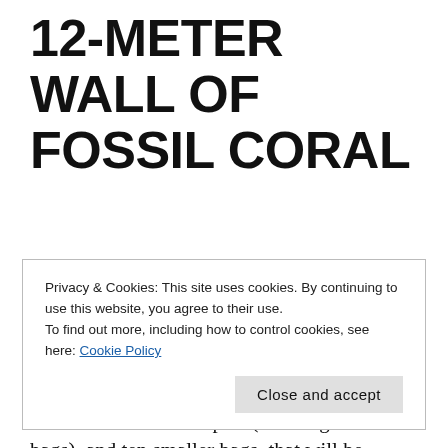12-METER WALL OF FOSSIL CORAL
We made it to Las Clavellinas and its monstrous wall of Acropora Cervicornis, a reef-building coral that is a threatened species today but was clearly abundant in Caribbean reefs 7,000 years ago. Here we collected another five bulk samples (10-kilogram cloth bags), and ten smaller bags, that will be brought to Panama and painstakingly picked apart
Privacy & Cookies: This site uses cookies. By continuing to use this website, you agree to their use.
To find out more, including how to control cookies, see here: Cookie Policy

Close and accept